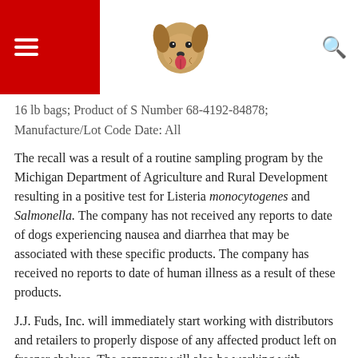The Dogington Post
16 lb bags; Product of S Number 68-4192-84878; Manufacture/Lot Code Date: All
The recall was a result of a routine sampling program by the Michigan Department of Agriculture and Rural Development resulting in a positive test for Listeria monocytogenes and Salmonella. The company has not received any reports to date of dogs experiencing nausea and diarrhea that may be associated with these specific products. The company has received no reports to date of human illness as a result of these products.
J.J. Fuds, Inc. will immediately start working with distributors and retailers to properly dispose of any affected product left on freezer shelves. The company will also be working with distributors and retailers to recall this product from customer use on the same allergens f